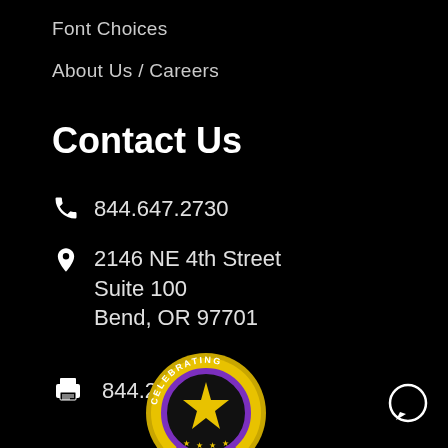Font Choices
About Us / Careers
Contact Us
📞 844.647.2730
📍 2146 NE 4th Street
Suite 100
Bend, OR 97701
📠 844.269.9551
[Figure (illustration): Celebrating badge/medal with purple ribbon and star, partially visible at bottom center of page]